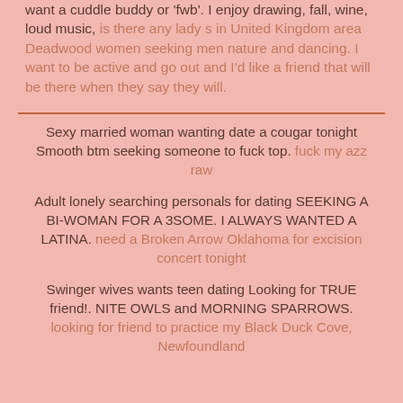want a cuddle buddy or 'fwb'. I enjoy drawing, fall, wine, loud music, is there any lady s in United Kingdom area Deadwood women seeking men nature and dancing. I want to be active and go out and I'd like a friend that will be there when they say they will.
Sexy married woman wanting date a cougar tonight Smooth btm seeking someone to fuck top. fuck my azz raw
Adult lonely searching personals for dating SEEKING A BI-WOMAN FOR A 3SOME. I ALWAYS WANTED A LATINA. need a Broken Arrow Oklahoma for excision concert tonight
Swinger wives wants teen dating Looking for TRUE friend!. NITE OWLS and MORNING SPARROWS. looking for friend to practice my Black Duck Cove, Newfoundland